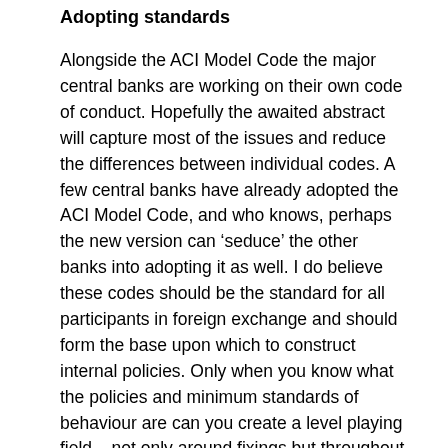Adopting standards
Alongside the ACI Model Code the major central banks are working on their own code of conduct. Hopefully the awaited abstract will capture most of the issues and reduce the differences between individual codes. A few central banks have already adopted the ACI Model Code, and who knows, perhaps the new version can ‘seduce’ the other banks into adopting it as well. I do believe these codes should be the standard for all participants in foreign exchange and should form the base upon which to construct internal policies. Only when you know what the policies and minimum standards of behaviour are can you create a level playing field – not only around fixings but throughout the 24×6 FX market.
Market data
One of the missing pieces of the puzzle is